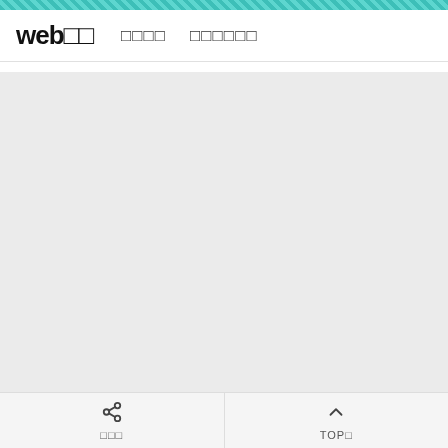web□□　□□□□　□□□□□□
[Figure (screenshot): Large empty gray content area]
□□□  |  TOP□